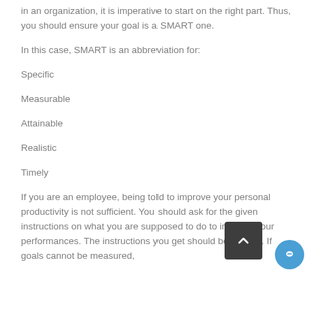in an organization, it is imperative to start on the right part. Thus, you should ensure your goal is a SMART one.
In this case, SMART is an abbreviation for:
Specific
Measurable
Attainable
Realistic
Timely
If you are an employee, being told to improve your personal productivity is not sufficient. You should ask for the given instructions on what you are supposed to do to improve your performances. The instructions you get should be precise. If goals cannot be measured,